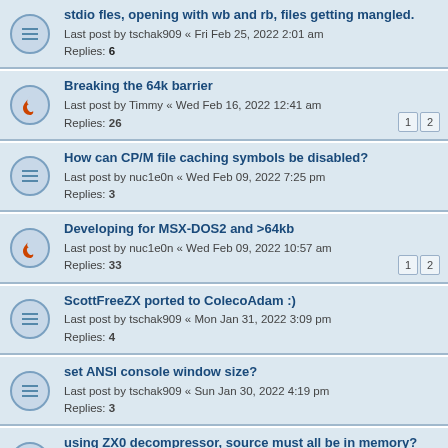stdio fles, opening with wb and rb, files getting mangled. Last post by tschak909 « Fri Feb 25, 2022 2:01 am Replies: 6
Breaking the 64k barrier Last post by Timmy « Wed Feb 16, 2022 12:41 am Replies: 26
How can CP/M file caching symbols be disabled? Last post by nuc1e0n « Wed Feb 09, 2022 7:25 pm Replies: 3
Developing for MSX-DOS2 and >64kb Last post by nuc1e0n « Wed Feb 09, 2022 10:57 am Replies: 33
ScottFreeZX ported to ColecoAdam :) Last post by tschak909 « Mon Jan 31, 2022 3:09 pm Replies: 4
set ANSI console window size? Last post by tschak909 « Sun Jan 30, 2022 4:19 pm Replies: 3
using ZX0 decompressor, source must all be in memory? Last post by dom « Sat Jan 29, 2022 9:35 am Replies: 1
MSX ROM Disassembly Last post by stefano « Thu Jan 27, 2022 3:21 pm
[appmake] borrowing cp/m adam disk routines. Last post by dom « Mon Jan 10, 2022 12:51 am Replies: 5